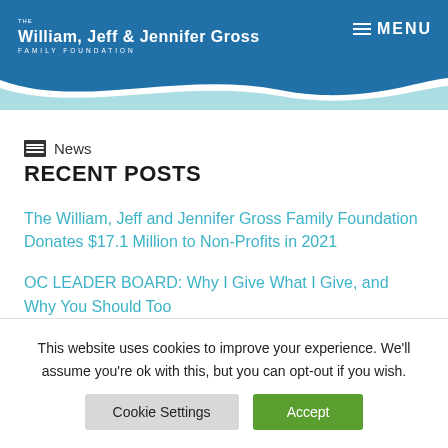THE WILLIAM, JEFF & JENNIFER GROSS FAMILY FOUNDATION | MENU
News
RECENT POSTS
The William, Jeff and Jennifer Gross Family Foundation Donates $17.1 Million to Non-Profits in 2021
OC LEADER BOARD: Why I Give What I Give, and Why You Should Too
This website uses cookies to improve your experience. We'll assume you're ok with this, but you can opt-out if you wish.
Cookie Settings | Accept